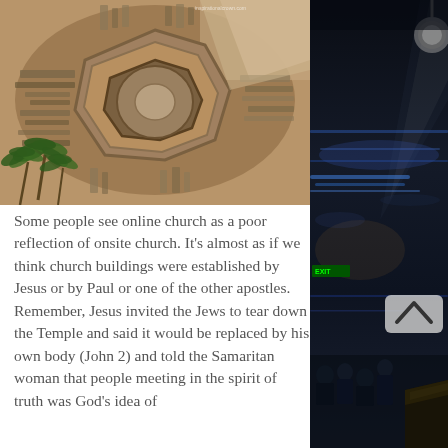[Figure (photo): Aerial photograph of ancient octagonal/circular ruins at an archaeological site, surrounded by stone foundations and palm trees, viewed from above]
Some people see online church as a poor reflection of onsite church. It's almost as if we think church buildings were established by Jesus or by Paul or one of the other apostles. Remember, Jesus invited the Jews to tear down the Temple and said it would be replaced by his own body (John 2) and told the Samaritan woman that people meeting in the spirit of truth was God's idea of
[Figure (photo): Dark indoor venue photo showing a dimly lit auditorium or church setting with blue/purple stage lighting, audience silhouettes, and a podium or lectern visible]